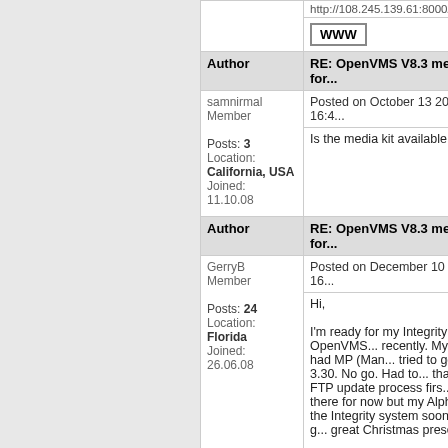| Author | Post |
| --- | --- |
|  | http://108.245.139.61:8000/~jkfm... | WWW |
| Author | RE: OpenVMS V8.3 media kit for... |
| samnirmal
Member

Posts: 3
Location: California, USA
Joined: 11.10.08 | Posted on October 13 2008 16:4...
Is the media kit available yet? |
| Author | RE: OpenVMS V8.3 media kit for... |
| GerryB
Member

Posts: 24
Location: Florida
Joined: 26.06.08 | Posted on December 10 2008 16...
Hi,

I'm ready for my Integrity OpenVMS... recently. My server had MP (Man... tried to go to 3.30. No go. Had to... that ugly FTP update process firs... on there for now but my Alpha (w... the Integrity system soon. Let's g... great Christmas present!

Regards,

Gerry |
| Author | RE: OpenVMS V8.3 media kit for... |
| frankydude
Member

Posts: 1 | Posted on December 16 2008 07...
I recently bought 2 integrity serve... Itaniums 1.5GHz, 10GB RAM, I... |